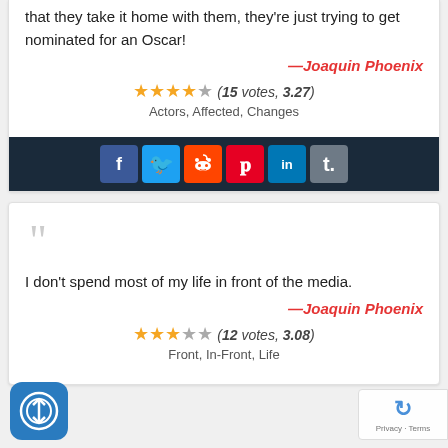that they take it home with them, they're just trying to get nominated for an Oscar!
—Joaquin Phoenix
(15 votes, 3.27)
Actors, Affected, Changes
[Figure (infographic): Social sharing bar with Facebook, Twitter, Reddit, Pinterest, LinkedIn, Tumblr icons]
I don't spend most of my life in front of the media.
—Joaquin Phoenix
(12 votes, 3.08)
Front, In-Front, Life